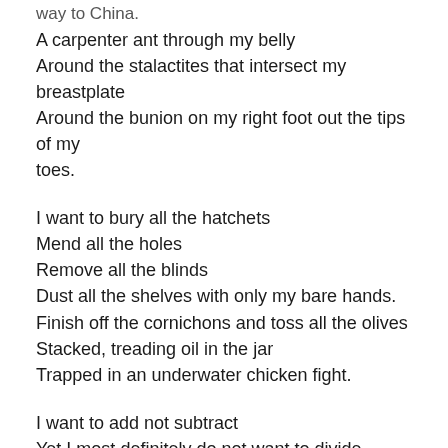way to China.
A carpenter ant through my belly
Around the stalactites that intersect my breastplate
Around the bunion on my right foot out the tips of my toes.
I want to bury all the hatchets
Mend all the holes
Remove all the blinds
Dust all the shelves with only my bare hands.
Finish off the cornichons and toss all the olives
Stacked, treading oil in the jar
Trapped in an underwater chicken fight.
I want to add not subtract
Yet I most definitely do not want to divide.
Canned beef stew an actor's fake vomit sprayed over